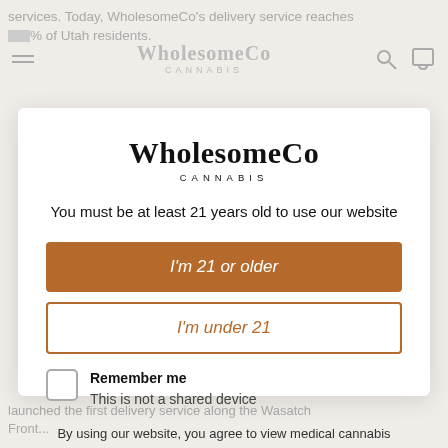services. Today, WholesomeCo's delivery service reaches 99% of Utah residents.
[Figure (screenshot): WholesomeCo Cannabis age verification modal overlay on website. Contains logo, age gate buttons 'I'm 21 or older' and 'I'm under 21', a remember me checkbox, and a disclaimer about medical cannabis content.]
WholesomeCo CANNABIS
You must be at least 21 years old to use our website
I'm 21 or older
I'm under 21
Remember me
This is not a shared device
By using our website, you agree to view medical cannabis content, pricing, and promotional discounts and incentives
launched the first delivery service along the Wasatch Front...